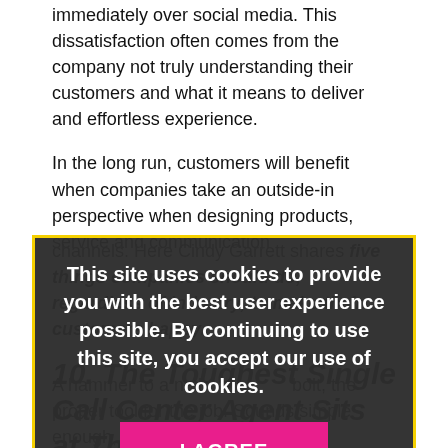immediately over social media. This dissatisfaction often comes from the company not truly understanding their customers and what it means to deliver and effortless experience.
In the long run, customers will benefit when companies take an outside-in perspective when designing products, service and communication channels. Here Cindy Garrett shares five things companies should do, regardless of industry, to make their customers happy.
[Figure (screenshot): Cookie consent overlay with dark semi-transparent background and yellow border. Text reads: 'This site uses cookies to provide you with the best user experience possible. By continuing to use this site, you accept our use of cookies.' with a pink 'I AGREE' button.]
10. The Toughest Single Call Center Agent Sits at Their Desk
A hammer to a nail, bolt, the proper tool for the job. Sounds simple enough, doesn't it? In